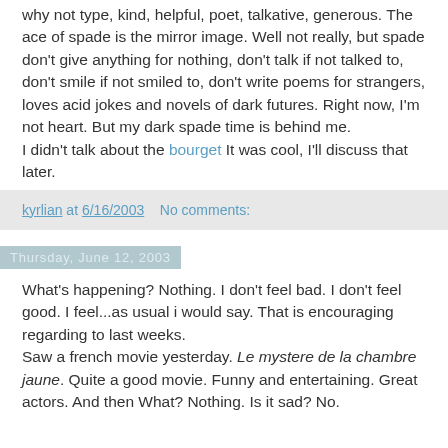why not type, kind, helpful, poet, talkative, generous. The ace of spade is the mirror image. Well not really, but spade don't give anything for nothing, don't talk if not talked to, don't smile if not smiled to, don't write poems for strangers, loves acid jokes and novels of dark futures. Right now, I'm not heart. But my dark spade time is behind me.
I didn't talk about the bourget It was cool, I'll discuss that later.
kyrlian at 6/16/2003    No comments:
Thursday, June 12, 2003
What's happening? Nothing. I don't feel bad. I don't feel good. I feel...as usual i would say. That is encouraging regarding to last weeks.
Saw a french movie yesterday. Le mystere de la chambre jaune. Quite a good movie. Funny and entertaining. Great actors. And then What? Nothing. Is it sad? No.